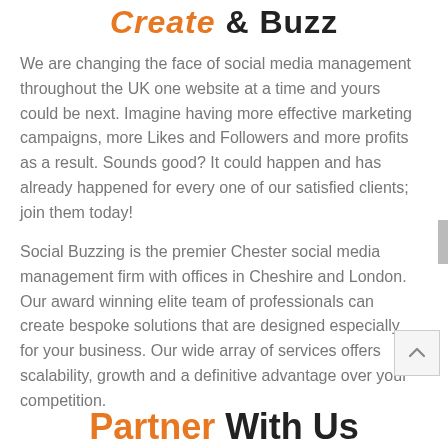Create & Buzz
We are changing the face of social media management throughout the UK one website at a time and yours could be next. Imagine having more effective marketing campaigns, more Likes and Followers and more profits as a result. Sounds good? It could happen and has already happened for every one of our satisfied clients; join them today!
Social Buzzing is the premier Chester social media management firm with offices in Cheshire and London. Our award winning elite team of professionals can create bespoke solutions that are designed especially for your business. Our wide array of services offers scalability, growth and a definitive advantage over your competition.
Partner With Us